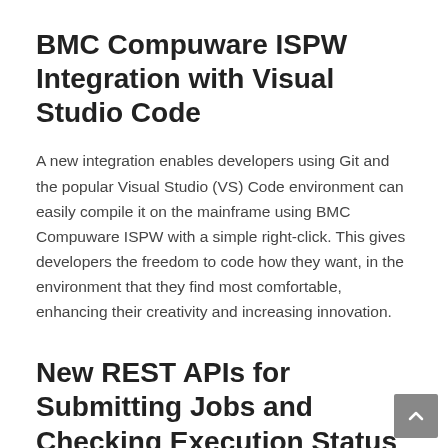BMC Compuware ISPW Integration with Visual Studio Code
A new integration enables developers using Git and the popular Visual Studio (VS) Code environment can easily compile it on the mainframe using BMC Compuware ISPW with a simple right-click. This gives developers the freedom to code how they want, in the environment that they find most comfortable, enhancing their creativity and increasing innovation.
New REST APIs for Submitting Jobs and Checking Execution Status
We are starting the process to enable core Topaz functions to be connected through REST APIs, giving